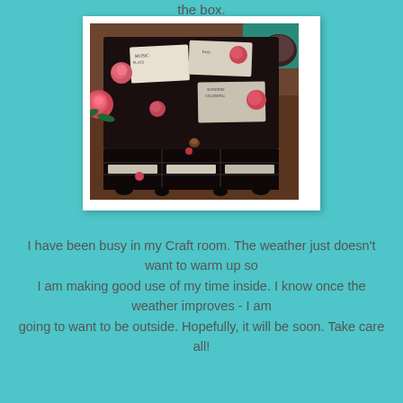the box.
[Figure (photo): A decorated jewelry/craft box with dark background covered in decoupage paper featuring roses, vintage text, and Paris-themed imagery, sitting on a wooden surface with a pink rose visible to the left.]
I have been busy in my Craft room.  The weather just doesn't want to warm up so I am making good use of my time inside.  I know once the weather improves - I am going to want to be outside.  Hopefully, it will be soon.  Take care all!